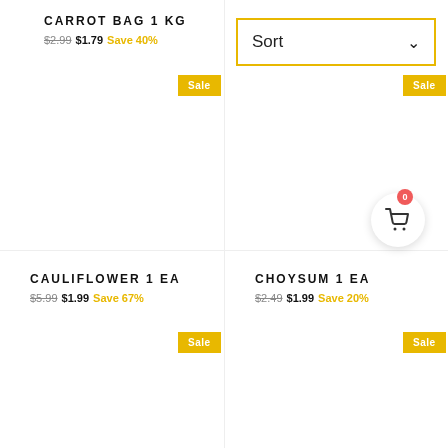CARROT BAG 1 KG
$2.99 $1.79 Save 40%
[Figure (other): Sort dropdown with yellow border]
Sale
Sale
[Figure (other): Shopping cart icon with red badge showing 0]
CAULIFLOWER 1 EA
$5.99 $1.99 Save 67%
CHOYSUM 1 EA
$2.49 $1.99 Save 20%
Sale
Sale